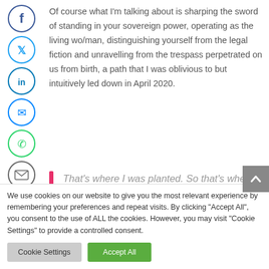Of course what I'm talking about is sharping the sword of standing in your sovereign power, operating as the living wo/man, distinguishing yourself from the legal fiction and unravelling from the trespass perpetrated on us from birth, a path that I was oblivious to but intuitively led down in April 2020.
That's where I was planted. So that's where I grew.
We use cookies on our website to give you the most relevant experience by remembering your preferences and repeat visits. By clicking "Accept All", you consent to the use of ALL the cookies. However, you may visit "Cookie Settings" to provide a controlled consent.